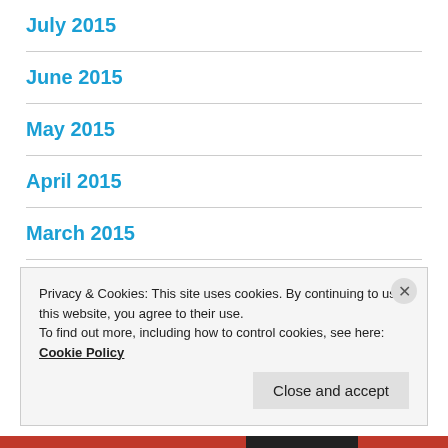July 2015
June 2015
May 2015
April 2015
March 2015
February 2015
Privacy & Cookies: This site uses cookies. By continuing to use this website, you agree to their use. To find out more, including how to control cookies, see here: Cookie Policy
Close and accept